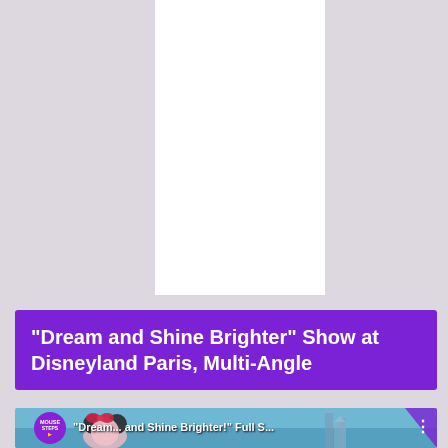[Figure (other): White rectangle placeholder/thumbnail area on a light grey-purple background]
“Dream and Shine Brighter” Show at Disneyland Paris, Multi-Angle
[Figure (screenshot): Video thumbnail showing Mouse Steps logo circle, Minnie Mouse character, Disneyland Paris castle, with text 'Dream... and Shine Brighter!' Full S... and a three-dot menu icon]